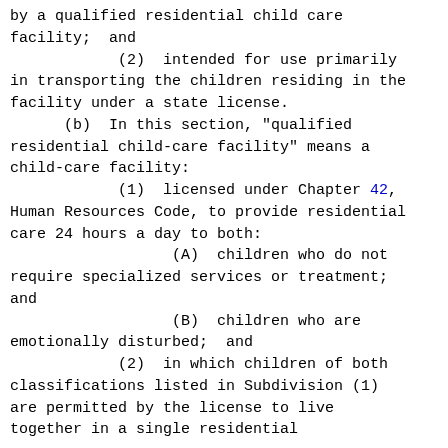by a qualified residential child care facility;  and
            (2)  intended for use primarily in transporting the children residing in the facility under a state license.
      (b)  In this section, "qualified residential child-care facility" means a child-care facility:
            (1)  licensed under Chapter 42, Human Resources Code, to provide residential care 24 hours a day to both:
                  (A)  children who do not require specialized services or treatment; and
                  (B)  children who are emotionally disturbed;  and
            (2)  in which children of both classifications listed in Subdivision (1) are permitted by the license to live together in a single residential